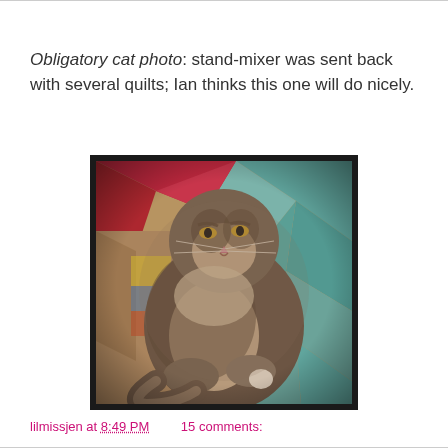Obligatory cat photo: stand-mixer was sent back with several quilts; Ian thinks this one will do nicely.
[Figure (photo): A fluffy long-haired tabby cat sitting on a colorful patchwork quilt with teal, red, and multicolored diamond patterns. The photo has a vintage/Instagram-style warm filter.]
lilmissjen at 8:49 PM    15 comments: